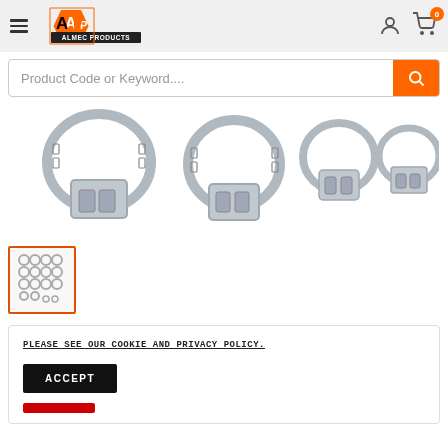Almec Products — navigation header with hamburger menu, logo, user icon, cart icon (0 items)
Product Code or Keyword....
[Figure (photo): Four stainless steel hose clamps of varying sizes shown close-up on white background]
[Figure (photo): Thumbnail showing a group of multiple small hose clamps arranged in a grid pattern]
PLEASE SEE OUR COOKIE AND PRIVACY POLICY.
ACCEPT